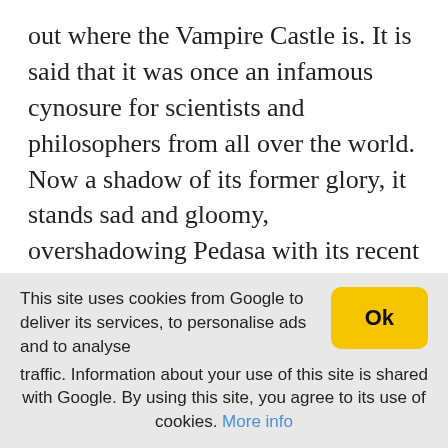out where the Vampire Castle is. It is said that it was once an infamous cynosure for scientists and philosophers from all over the world. Now a shadow of its former glory, it stands sad and gloomy, overshadowing Pedasa with its recent past. That's the place where numerous men and women lost their lives and where demon lord Alastor killed the Vampire Queen. At least, that's what Markos told me.
I see several people in white tunics here, gathering some type of purple flowers. They wear a bizarre
This site uses cookies from Google to deliver its services, to personalise ads and to analyse traffic. Information about your use of this site is shared with Google. By using this site, you agree to its use of cookies. More info